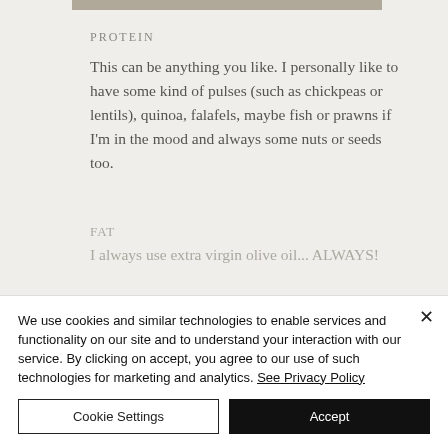PROTEIN
This can be anything you like. I personally like to have some kind of pulses (such as chickpeas or lentils), quinoa, falafels, maybe fish or prawns if I'm in the mood and always some nuts or seeds too.
FAT
I always use extra virgin olive oil... ALWAYS!
We use cookies and similar technologies to enable services and functionality on our site and to understand your interaction with our service. By clicking on accept, you agree to our use of such technologies for marketing and analytics. See Privacy Policy